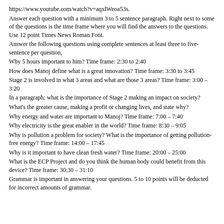https://www.youtube.com/watch?v=aqxlWeoa53s.
Answer each question with a minimum 3 to 5 sentence paragraph. Right next to some of the questions is the time frame where you will find the answers to the questions. Use 12 point Times News Roman Font.
Answer the following questions using complete sentences at least three to five-sentence per question,
Why 5 hours important to him? Time frame: 2:30 to 2:40
How does Manoj define what is a great innovation? Time frame: 3:30 to 3:45
Stage 2 is involved in what 3 areas and what are those 3 areas? Time frame: 3:00 – 3:20
In a paragraph; what is the importance of Stage 2 making an impact on society?
What's the greater cause, making a profit or changing lives, and state why?
Why energy and water are important to Manoj? Time frame: 7:00 – 7:40
Why electricity is the great enabler in the world? Time frame: 8:30 – 9:05
Why is pollution a problem for society? What is the importance of getting pollution-free energy? Time frame: 14:00 – 17:45
Why is it important to have clean fresh water? Time frame: 20:00 – 25:00
What is the ECP Project and do you think the human body could benefit from this device? Time frame: 30:30 – 31:10
Grammar is important in answering your questions. 5 to 10 points will be deducted for incorrect amounts of grammar.